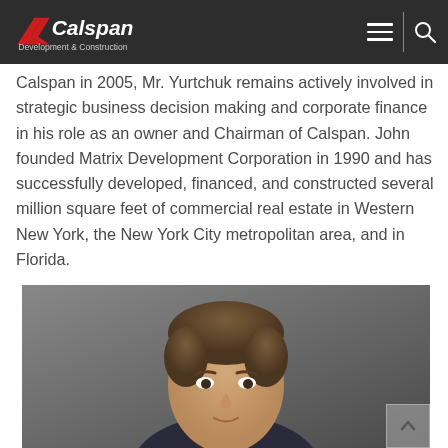Calspan Development & Construction — navigation header
Calspan in 2005, Mr. Yurtchuk remains actively involved in strategic business decision making and corporate finance in his role as an owner and Chairman of Calspan. John founded Matrix Development Corporation in 1990 and has successfully developed, financed, and constructed several million square feet of commercial real estate in Western New York, the New York City metropolitan area, and in Florida.
[Figure (photo): Professional headshot photograph of a man with brown hair against a dark grey background]